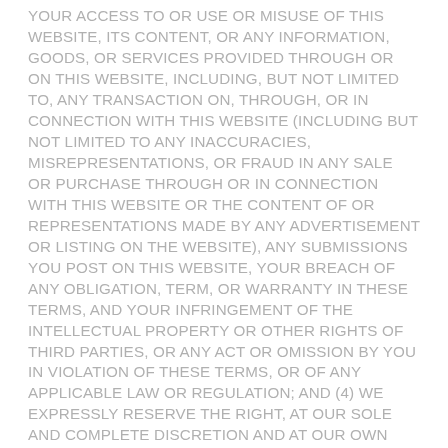YOUR ACCESS TO OR USE OR MISUSE OF THIS WEBSITE, ITS CONTENT, OR ANY INFORMATION, GOODS, OR SERVICES PROVIDED THROUGH OR ON THIS WEBSITE, INCLUDING, BUT NOT LIMITED TO, ANY TRANSACTION ON, THROUGH, OR IN CONNECTION WITH THIS WEBSITE (INCLUDING BUT NOT LIMITED TO ANY INACCURACIES, MISREPRESENTATIONS, OR FRAUD IN ANY SALE OR PURCHASE THROUGH OR IN CONNECTION WITH THIS WEBSITE OR THE CONTENT OF OR REPRESENTATIONS MADE BY ANY ADVERTISEMENT OR LISTING ON THE WEBSITE), ANY SUBMISSIONS YOU POST ON THIS WEBSITE, YOUR BREACH OF ANY OBLIGATION, TERM, OR WARRANTY IN THESE TERMS, AND YOUR INFRINGEMENT OF THE INTELLECTUAL PROPERTY OR OTHER RIGHTS OF THIRD PARTIES, OR ANY ACT OR OMISSION BY YOU IN VIOLATION OF THESE TERMS, OR OF ANY APPLICABLE LAW OR REGULATION; AND (4) WE EXPRESSLY RESERVE THE RIGHT, AT OUR SOLE AND COMPLETE DISCRETION AND AT OUR OWN COST TO